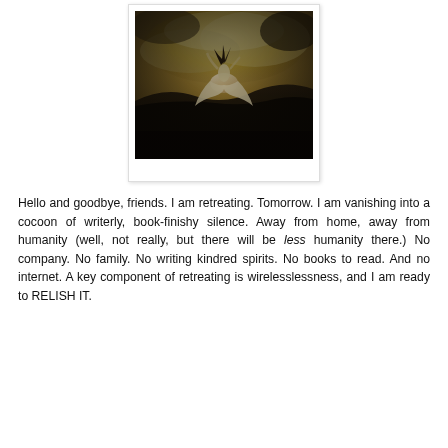[Figure (photo): A woman in a white flowing dress leaping outdoors against a dramatic cloudy sky and dark hilly landscape. The photo has a sepia/golden-warm vintage tone and is presented in a polaroid-style white frame.]
Hello and goodbye, friends. I am retreating. Tomorrow. I am vanishing into a cocoon of writerly, book-finishy silence. Away from home, away from humanity (well, not really, but there will be less humanity there.) No company. No family. No writing kindred spirits. No books to read. And no internet. A key component of retreating is wirelesslessness, and I am ready to RELISH IT.